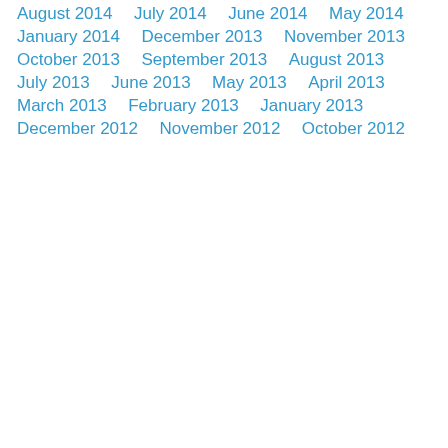August 2014
July 2014
June 2014
May 2014
January 2014
December 2013
November 2013
October 2013
September 2013
August 2013
July 2013
June 2013
May 2013
April 2013
March 2013
February 2013
January 2013
December 2012
November 2012
October 2012